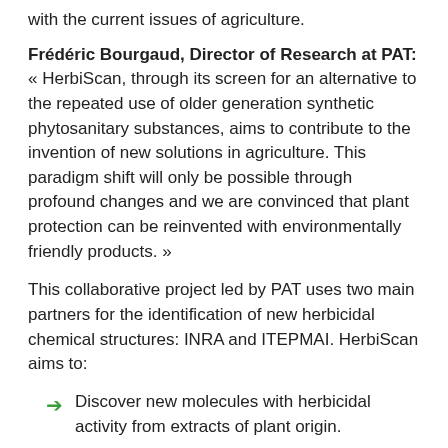with the current issues of agriculture.
Frédéric Bourgaud, Director of Research at PAT: « HerbiScan, through its screen for an alternative to the repeated use of older generation synthetic phytosanitary substances, aims to contribute to the invention of new solutions in agriculture. This paradigm shift will only be possible through profound changes and we are convinced that plant protection can be reinvented with environmentally friendly products. »
This collaborative project led by PAT uses two main partners for the identification of new herbicidal chemical structures: INRA and ITEPMAI. HerbiScan aims to:
Discover new molecules with herbicidal activity from extracts of plant origin.
Characterize the herbicidal activity of these molecules (efficacy and selectivity) on greenhouse-grown weeds.